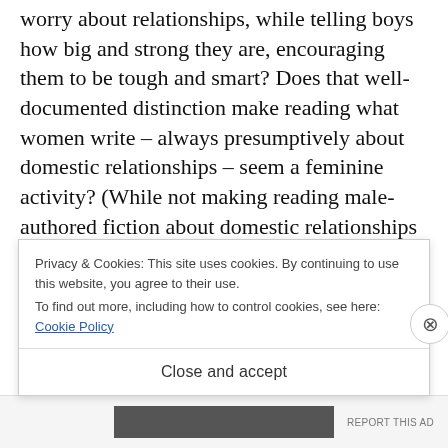worry about relationships, while telling boys how big and strong they are, encouraging them to be tough and smart? Does that well-documented distinction make reading what women write – always presumptively about domestic relationships – seem a feminine activity? (While not making reading male-authored fiction about domestic relationships problematic – as if those books have some kind of blue for boys won't lessen your manhood s c
Privacy & Cookies: This site uses cookies. By continuing to use this website, you agree to their use.
To find out more, including how to control cookies, see here: Cookie Policy
Close and accept